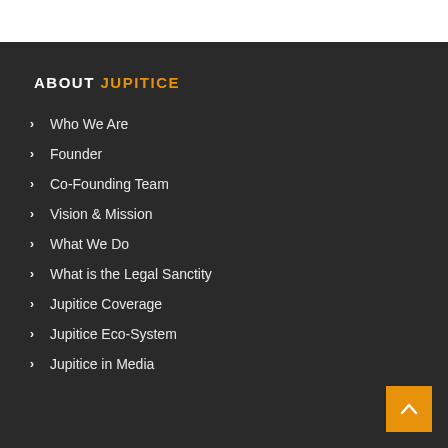ABOUT JUPITICE
Who We Are
Founder
Co-Founding Team
Vision & Mission
What We Do
What is the Legal Sanctity
Jupitice Coverage
Jupitice Eco-System
Jupitice in Media